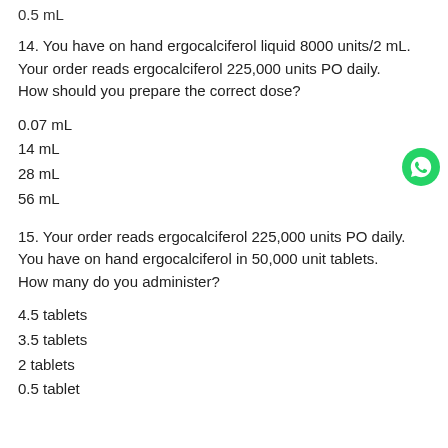0.5 mL
14. You have on hand ergocalciferol liquid 8000 units/2 mL. Your order reads ergocalciferol 225,000 units PO daily. How should you prepare the correct dose?
0.07 mL
14 mL
28 mL
56 mL
15. Your order reads ergocalciferol 225,000 units PO daily. You have on hand ergocalciferol in 50,000 unit tablets. How many do you administer?
4.5 tablets
3.5 tablets
2 tablets
0.5 tablet